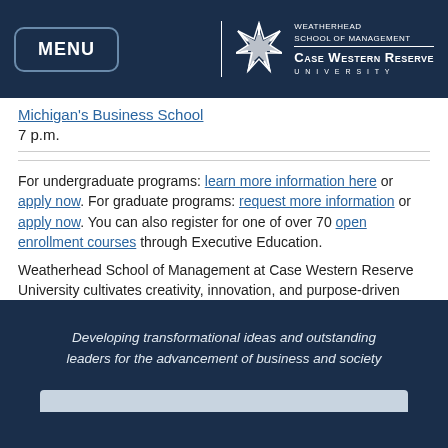MENU | WEATHERHEAD SCHOOL OF MANAGEMENT CASE WESTERN RESERVE UNIVERSITY
Michigan's Business School
7 p.m.
For undergraduate programs: learn more information here or apply now. For graduate programs: request more information or apply now. You can also register for one of over 70 open enrollment courses through Executive Education.
Weatherhead School of Management at Case Western Reserve University cultivates creativity, innovation, and purpose-driven leadership to design a better world.
Developing transformational ideas and outstanding leaders for the advancement of business and society